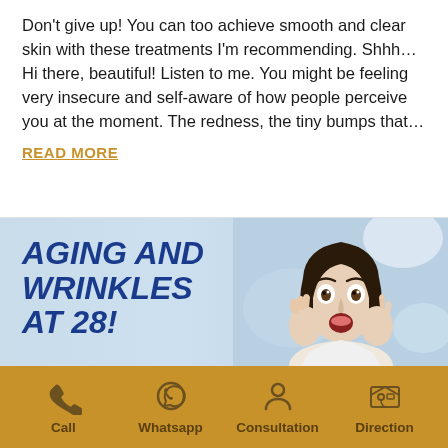Don't give up! You can too achieve smooth and clear skin with these treatments I'm recommending. Shhh… Hi there, beautiful! Listen to me. You might be feeling very insecure and self-aware of how people perceive you at the moment. The redness, the tiny bumps that…
READ MORE
[Figure (illustration): Promotional banner with text 'AGING AND WRINKLES AT 28!' in bold blue italic font on a light blue background, with a photo of a surprised young woman with dark hair holding her face with both hands on the right side.]
Call | Whatsapp | Consultation | Direction